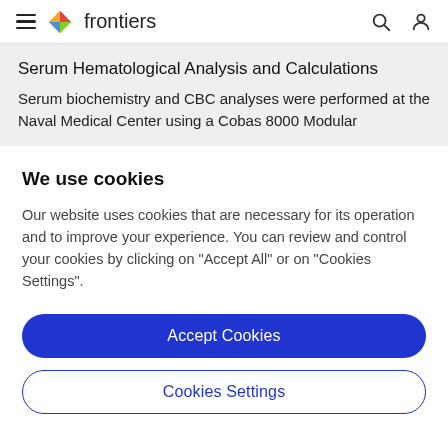≡  frontiers  🔍  👤
Serum Hematological Analysis and Calculations
Serum biochemistry and CBC analyses were performed at the Naval Medical Center using a Cobas 8000 Modular
We use cookies
Our website uses cookies that are necessary for its operation and to improve your experience. You can review and control your cookies by clicking on "Accept All" or on "Cookies Settings".
Accept Cookies
Cookies Settings